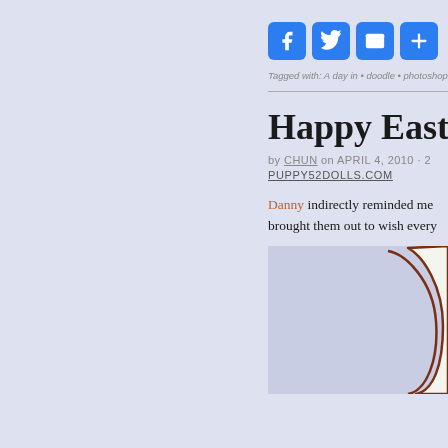[Figure (screenshot): Social sharing buttons: Facebook, Twitter, Email, and a plus/more button, all blue rounded squares with white icons]
Tagged with: A day in • doodle • photoshop • q
Happy Easter :D
by CHUN on APRIL 4, 2010 · 2 PUPPY52DOLLS.COM
Danny indirectly reminded me... brought them out to wish every...
[Figure (illustration): Partial view of a cute cartoon bunny illustration on a light purple background, showing the white body/ear of the bunny with a brown outline]